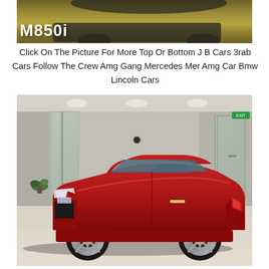[Figure (photo): Top portion of a BMW M850i car photo with golden/brown grass background. White text label 'M850i' overlaid in bottom-left of image.]
Click On The Picture For More Top Or Bottom J B Cars 3rab Cars Follow The Crew Amg Gang Mercedes Mer Amg Car Bmw Lincoln Cars
[Figure (photo): A red Rolls-Royce Wraith coupe photographed inside a luxury car showroom with glass walls and light marble flooring.]